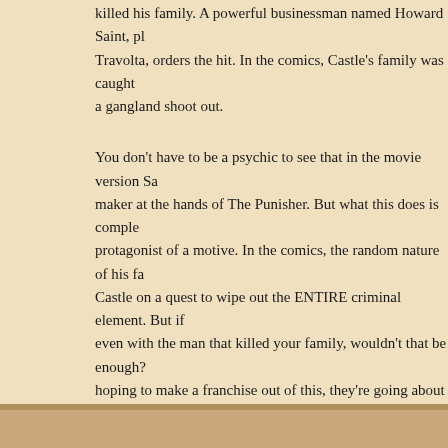killed his family. A powerful businessman named Howard Saint, played by Travolta, orders the hit. In the comics, Castle's family was caught in a gangland shoot out.
You don't have to be a psychic to see that in the movie version Sa... maker at the hands of The Punisher. But what this does is comple... protagonist of a motive. In the comics, the random nature of his fa... Castle on a quest to wipe out the ENTIRE criminal element. But if... even with the man that killed your family, wouldn't that be enough?... hoping to make a franchise out of this, they're going about it in a lo...
Advance reviews are saying that The Punisher doesn't pull away f... more intense scenes of violence. It shouldn't considering the sour... at least, gives me hope. And while I had reservations at first, I thin... will make a very good Punisher.
Although my hopes aren't very high, I'm still counting on seeing Th... weekend. If anything but to wipe clean the memory of that aforeme... Lundgren version, which still haunts me to this day. However bad t... it can't possibly be as bad as THAT version!
Tags: bubbles, bullets, Florida, guns, Miami, Miami Vice, New York, Punisher